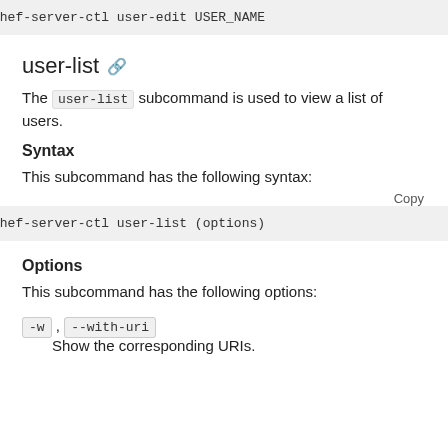chef-server-ctl user-edit USER_NAME
user-list
The user-list subcommand is used to view a list of users.
Syntax
This subcommand has the following syntax:
Copy
chef-server-ctl user-list (options)
Options
This subcommand has the following options:
-w, --with-uri
Show the corresponding URIs.